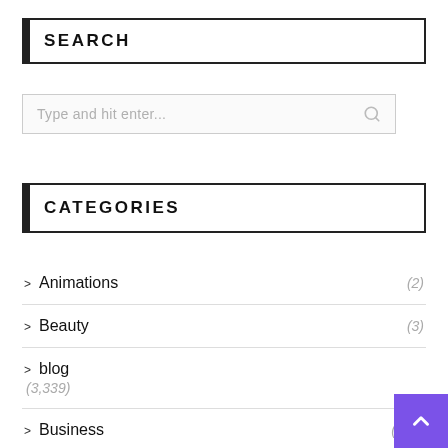SEARCH
Type and hit enter...
CATEGORIES
Animations (2)
Beauty (3)
blog (3,339)
Business (106)
Celebrites